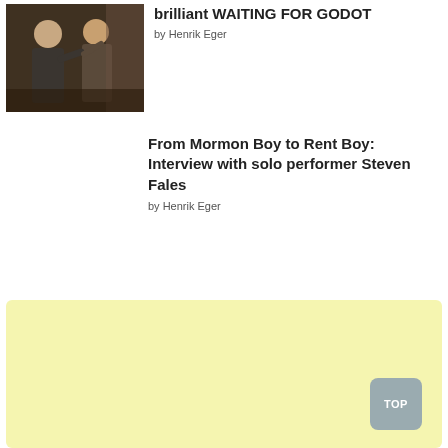[Figure (photo): Photo of two male performers on stage in suits, gesturing, from the play Waiting for Godot]
brilliant WAITING FOR GODOT
by Henrik Eger
From Mormon Boy to Rent Boy: Interview with solo performer Steven Fales
by Henrik Eger
[Figure (other): Light yellow advertisement banner area with a TOP button in the lower right corner]